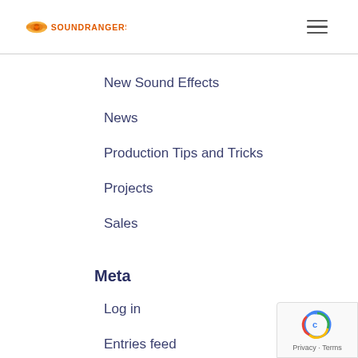SoundRangers logo and navigation hamburger menu
New Sound Effects
News
Production Tips and Tricks
Projects
Sales
Meta
Log in
Entries feed
Comments feed